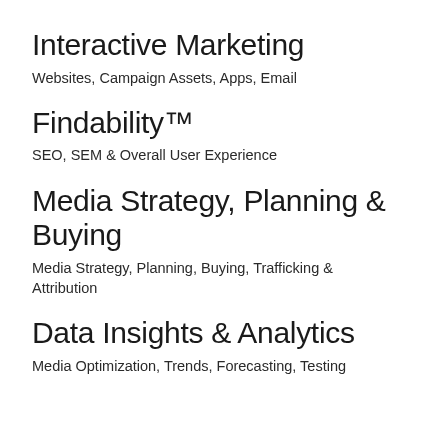Interactive Marketing
Websites, Campaign Assets, Apps, Email
Findability™
SEO, SEM & Overall User Experience
Media Strategy, Planning & Buying
Media Strategy, Planning, Buying, Trafficking & Attribution
Data Insights & Analytics
Media Optimization, Trends, Forecasting, Testing